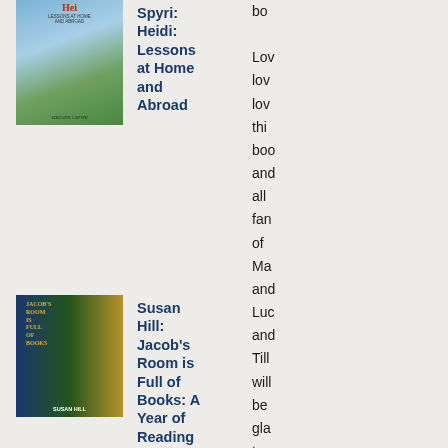[Figure (photo): Book cover of Heidi: Lessons at Home and Abroad by Johanna Spyri, illustrated children's book cover]
Spyri: Heidi: Lessons at Home and Abroad
bo
Lov
lov
lov
thi
boo
and
all
fan
of
Ma
and
Luc
and
Tilli
will
be
gla
to
add
thi
to
tho
[Figure (photo): Book cover of Jacob's Room is Full of Books: A Year of Reading by Susan Hill, showing book spines]
Susan Hill: Jacob's Room is Full of Books: A Year of Reading
[Figure (photo): Book cover of Splinter by Val McDermid, showing a dark landscape]
Val